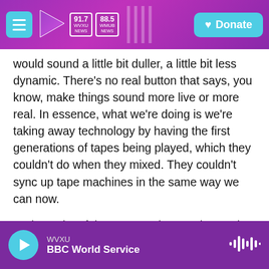WVXU 91.7 NEWS | WMUB 88.5 NEWS | Donate
would sound a little bit duller, a little bit less dynamic. There's no real button that says, you know, make things sound more live or more real. In essence, what we're doing is we're taking away technology by having the first generations of tapes being played, which they couldn't do when they mixed. They couldn't sync up tape machines in the same way we can now.

And so a lot of the reason why people say that they - with this new version of the album they can hear things is just because that's what's on tape. And so I think, you know, my dream is to make
WVXU | BBC World Service